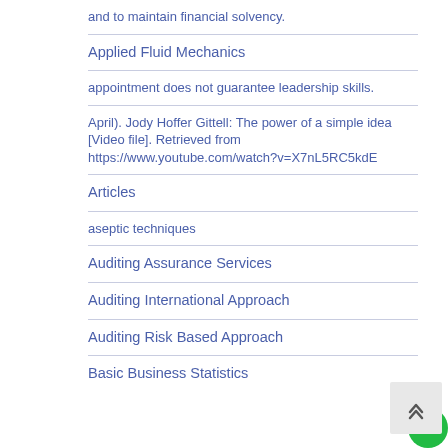and to maintain financial solvency.
Applied Fluid Mechanics
appointment does not guarantee leadership skills.
April). Jody Hoffer Gittell: The power of a simple idea [Video file]. Retrieved from https://www.youtube.com/watch?v=X7nL5RC5kdE
Articles
aseptic techniques
Auditing Assurance Services
Auditing International Approach
Auditing Risk Based Approach
Basic Business Statistics